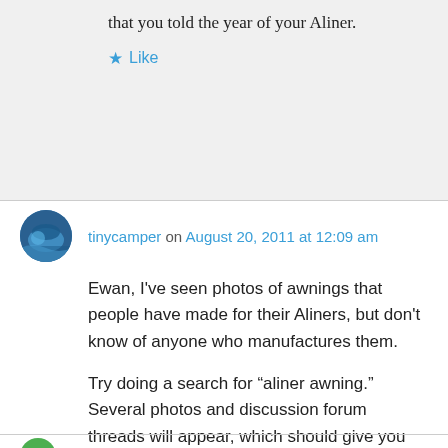that you told the year of your Aliner.
Like
tinycamper on August 20, 2011 at 12:09 am
Ewan, I've seen photos of awnings that people have made for their Aliners, but don't know of anyone who manufactures them.

Try doing a search for “aliner awning.” Several photos and discussion forum threads will appear, which should give you some ideas anyway.
Like